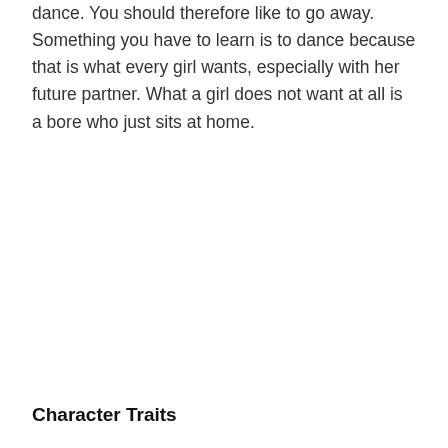dance. You should therefore like to go away. Something you have to learn is to dance because that is what every girl wants, especially with her future partner. What a girl does not want at all is a bore who just sits at home.
Character Traits